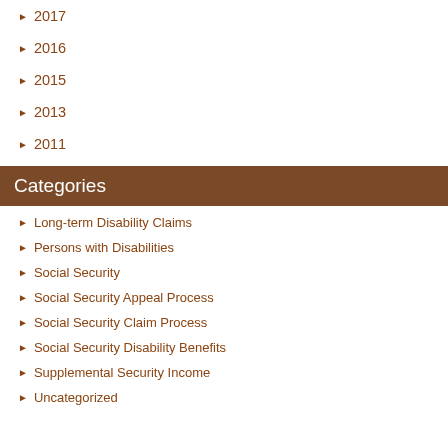2017
2016
2015
2013
2011
Categories
Long-term Disability Claims
Persons with Disabilities
Social Security
Social Security Appeal Process
Social Security Claim Process
Social Security Disability Benefits
Supplemental Security Income
Uncategorized